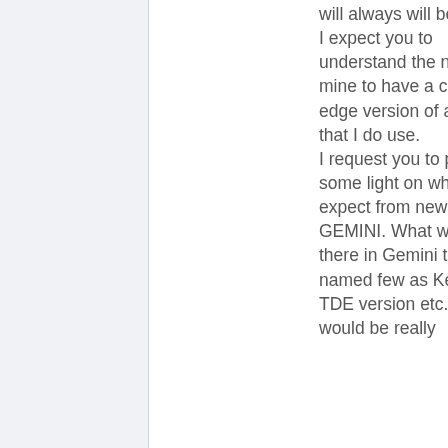will always will be. I expect you to understand the need of mine to have a cutting edge version of apps that I do use. I request you to provide some light on what to expect from new GEMINI. What will be there in Gemini to be named few as Kernel, TDE version etc.. It would be really